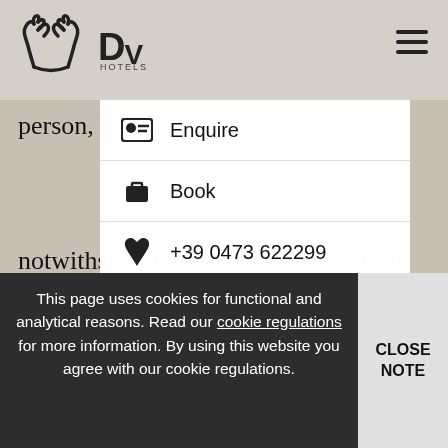DV Hotels
person, data c[oncerning] [info] concerning a natural pers[on] [repres]entation" is prohibited. We [will not t]ransfer this kind of data, u[nless nec]essary. We should like to [inform the cli]ent that special catego[ries of data ar]e transferred without the sp[ecific consent of the dat]a subject to the processin[g, and] accepts no liability and n[o claim] against them, since th[e information] published by
[Figure (screenshot): Dropdown navigation menu with options: Enquire, Book, +39 0473 622299, WhatsApp, Chat, Hot Deal, 13° to 31°, Airport Bolzano]
This page uses cookies for functional and analytical reasons. Read our cookie regulations for more information. By using this website you agree with our cookie regulations.
notwithstanding necessary to issue an express